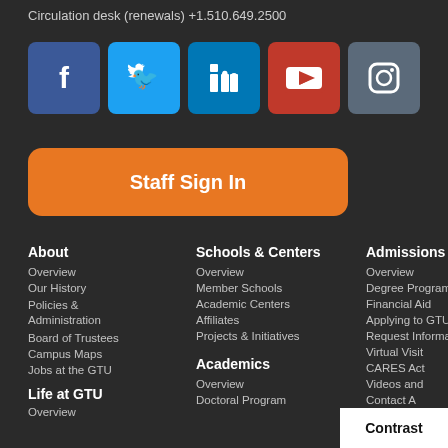Circulation desk (renewals) +1.510.649.2500
[Figure (illustration): Row of five social media icon buttons: Facebook (blue), Twitter (light blue), LinkedIn (dark blue), YouTube (red), Instagram (grey)]
Staff Sign In
About
Overview
Our History
Policies & Administration
Board of Trustees
Campus Maps
Jobs at the GTU
Life at GTU
Schools & Centers
Overview
Member Schools
Academic Centers
Affiliates
Projects & Initiatives
Academics
Overview
Doctoral Program
Admissions & Aid
Overview
Degree Programs
Financial Aid
Applying to GTU
Request Information
Virtual Visit
CARES Act
Videos and
Contact A
Student Awards